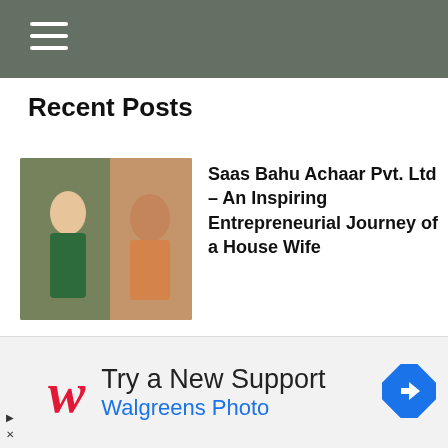Recent Posts
Saas Bahu Achaar Pvt. Ltd – An Inspiring Entrepreneurial Journey of a House Wife
Salt City: An Unusual Tale of Complex Family Relationships
Damaad ji Season 2: Palangtod – When Mother Falls in Love with her Daughter's Husband
[Figure (infographic): Advertisement banner: Walgreens Photo - Try a New Support]